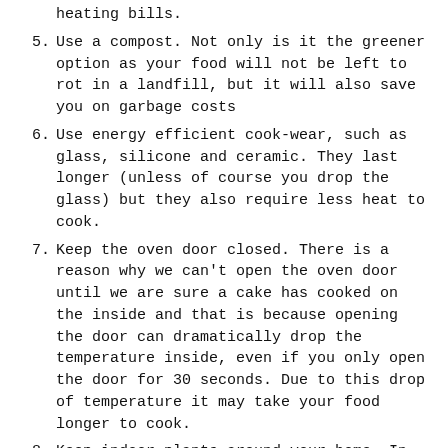heating bills.
5. Use a compost. Not only is it the greener option as your food will not be left to rot in a landfill, but it will also save you on garbage costs
6. Use energy efficient cook-wear, such as glass, silicone and ceramic. They last longer (unless of course you drop the glass) but they also require less heat to cook.
7. Keep the oven door closed. There is a reason why we can't open the oven door until we are sure a cake has cooked on the inside and that is because opening the door can dramatically drop the temperature inside, even if you only open the door for 30 seconds. Due to this drop of temperature it may take your food longer to cook.
8. Keep indoor plants around your home. In colder months they have two benefits: A) They clean the air, so there is less of a need to open a window B) They